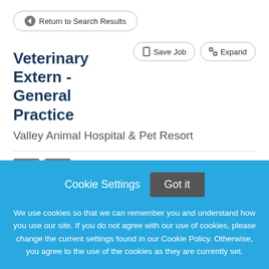← Return to Search Results
Veterinary Extern - General Practice
Valley Animal Hospital & Pet Resort
Save Job   Expand
APPLY NOW
Cookie Settings   Got it
We use cookies so that we can remember you and understand how you use our site. If you do not agree with our use of cookies, please change the current settings found in our Cookie Policy. Otherwise, you agree to the use of the cookies as they are currently set.